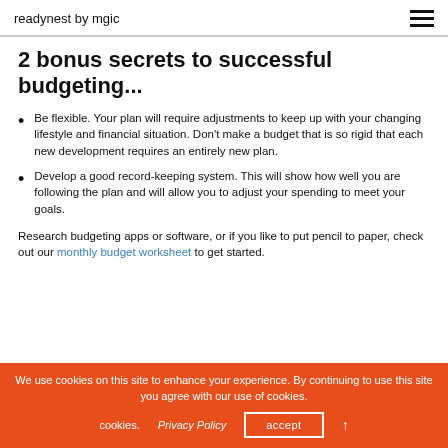readynest by mgic
2 bonus secrets to successful budgeting...
Be flexible. Your plan will require adjustments to keep up with your changing lifestyle and financial situation. Don't make a budget that is so rigid that each new development requires an entirely new plan.
Develop a good record-keeping system. This will show how well you are following the plan and will allow you to adjust your spending to meet your goals.
Research budgeting apps or software, or if you like to put pencil to paper, check out our monthly budget worksheet to get started.
We use cookies on this site to enhance your experience. By continuing to use this site you agree with our use of cookies.